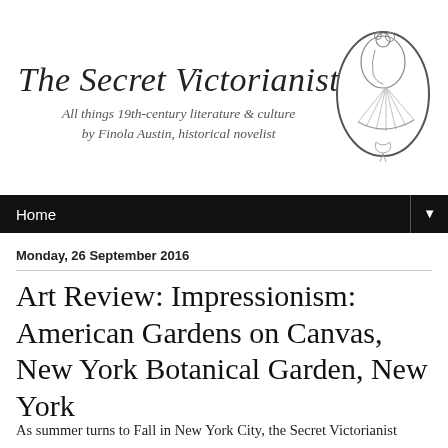[Figure (logo): The Secret Victorianist blog header with cursive title text and an oval cameo illustration of a Victorian woman with a fan]
Home ▼
Monday, 26 September 2016
Art Review: Impressionism: American Gardens on Canvas, New York Botanical Garden, New York
As summer turns to Fall in New York City, the Secret Victorianist